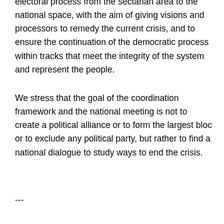electoral process from the sectarian area to the national space, with the aim of giving visions and processors to remedy the current crisis, and to ensure the continuation of the democratic process within tracks that meet the integrity of the system and represent the people.
We stress that the goal of the coordination framework and the national meeting is not to create a political alliance or to form the largest bloc or to exclude any political party, but rather to find a national dialogue to study ways to end the crisis.
---